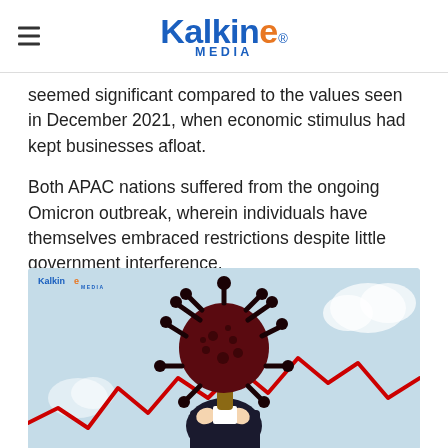Kalkine Media
seemed significant compared to the values seen in December 2021, when economic stimulus had kept businesses afloat.
Both APAC nations suffered from the ongoing Omicron outbreak, wherein individuals have themselves embraced restrictions despite little government interference.
[Figure (illustration): Illustration showing a coronavirus particle overlaid on a person holding their head in distress, with a red line chart declining in the background, representing economic impact of the Omicron outbreak. Kalkine Media watermark in top-left corner.]